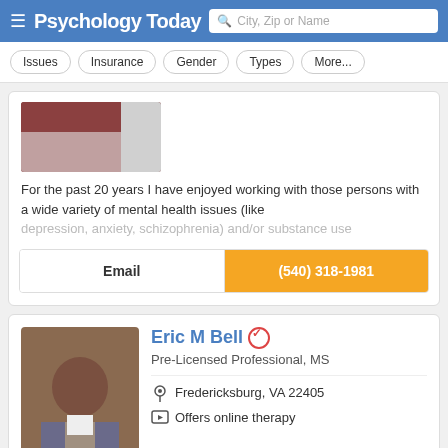Psychology Today — City, Zip or Name
Issues
Insurance
Gender
Types
More...
For the past 20 years I have enjoyed working with those persons with a wide variety of mental health issues (like depression, anxiety, schizophrenia) and/or substance use
Email
(540) 318-1981
Eric M Bell
Pre-Licensed Professional, MS
Fredericksburg, VA 22405
Offers online therapy